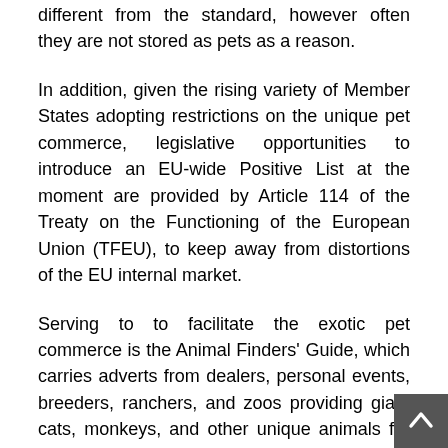different from the standard, however often they are not stored as pets as a reason.
In addition, given the rising variety of Member States adopting restrictions on the unique pet commerce, legislative opportunities to introduce an EU-wide Positive List at the moment are provided by Article 114 of the Treaty on the Functioning of the European Union (TFEU), to keep away from distortions of the EU internal market.
Serving to to facilitate the exotic pet commerce is the Animal Finders' Guide, which carries adverts from dealers, personal events, breeders, ranchers, and zoos providing giant cats, monkeys, and other unique animals for sale. In Australia, world, the commonest unique pets have been found to be freshwater fish, exotic birds and small mammals.